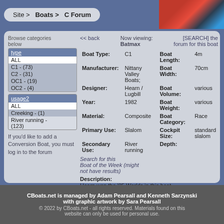Site > Boats > C Forum
Browse categories below
type
ALL
C1 - (73)
C2 - (31)
OC1 - (19)
OC2 - (4)
usage2
ALL
Creeking - (1)
River running - (123)
If you'd like to add a Conversion Boat, you must log in to the forum
<< back  Now viewing: Batmax  [SEARCH] the forum for this boat
| Field | Value | Field | Value |
| --- | --- | --- | --- |
| Boat Type: | C1 | Boat Length: | 4m |
| Manufacturer: | Nittany Valley Boats; | Boat Width: | 70cm |
| Designer: | Hearn / Lugbill | Boat Volume: | various |
| Year: | 1982 | Boat Weight: | various |
| Material: | Composite | Boat Category: | Race |
| Primary Use: | Slalom | Cockpit Size: | standard slalom |
| Secondary Use: | River running | Depth: |  |
Search for this Boat of the Week (might not have results)
Description: Hearn won the '85 Worlds in this boat.
CBoats.net is managed by Adam Pearsall and Kenneth Sarzynski with graphic artwork by Sara Pearsall
© 2022 by CBoats.net - all rights reserved. Materials found on this website can only be used for personal use.